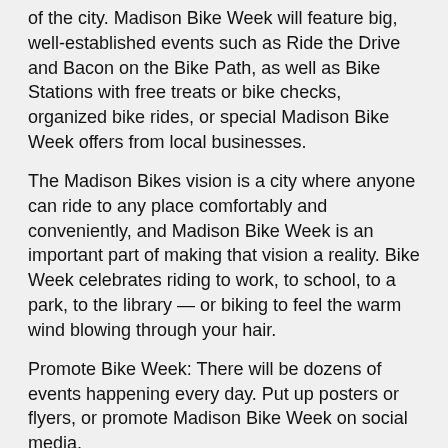of the city. Madison Bike Week will feature big, well-established events such as Ride the Drive and Bacon on the Bike Path, as well as Bike Stations with free treats or bike checks, organized bike rides, or special Madison Bike Week offers from local businesses.
The Madison Bikes vision is a city where anyone can ride to any place comfortably and conveniently, and Madison Bike Week is an important part of making that vision a reality. Bike Week celebrates riding to work, to school, to a park, to the library — or biking to feel the warm wind blowing through your hair.
Promote Bike Week: There will be dozens of events happening every day. Put up posters or flyers, or promote Madison Bike Week on social media.
Poster English: 8.5×11  11×17
Poster Spanish: 8.5×11  11×17
Flyer 4×4 English: PDF